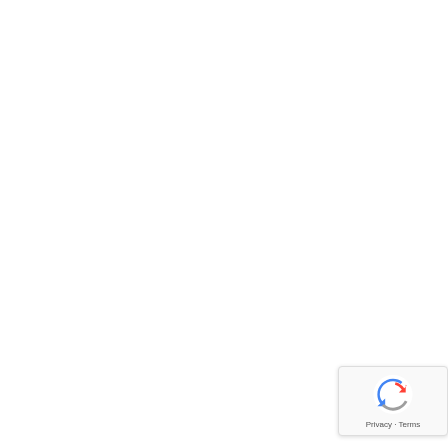einperceptionandcultureandr
[Figure (logo): reCAPTCHA badge with spinning arrow logo and Privacy - Terms text]